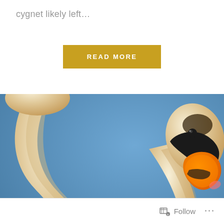cygnet likely left…
READ MORE
[Figure (photo): Close-up photograph of two white swans. One swan has its neck curved gracefully while the other faces the camera with its distinctive orange beak and black knob visible. Blue sky in the background.]
Follow
...